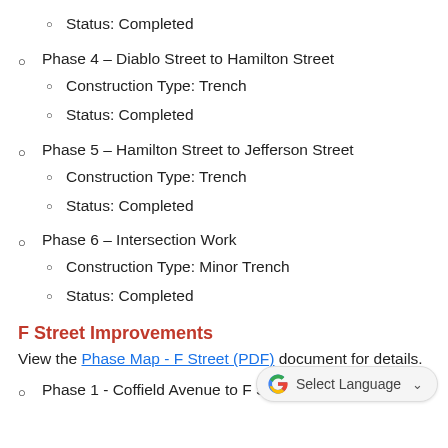Status: Completed
Phase 4 – Diablo Street to Hamilton Street
Construction Type: Trench
Status: Completed
Phase 5 – Hamilton Street to Jefferson Street
Construction Type: Trench
Status: Completed
Phase 6 – Intersection Work
Construction Type: Minor Trench
Status: Completed
F Street Improvements
View the Phase Map - F Street (PDF) document for details.
Phase 1 - Coffield Avenue to F Street cul-de-